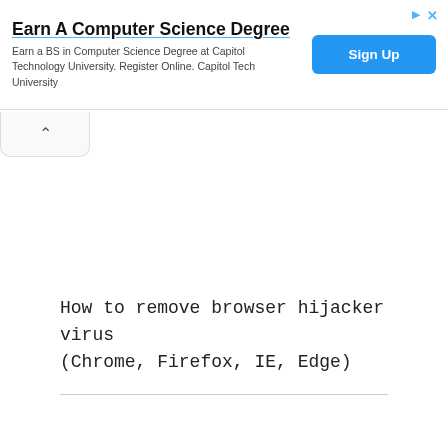[Figure (screenshot): Advertisement banner for Capitol Technology University offering a BS in Computer Science Degree online, with a blue 'Sign Up' button on the right and a close/collapse control in the top-right corner.]
How to remove browser hijacker virus (Chrome, Firefox, IE, Edge)